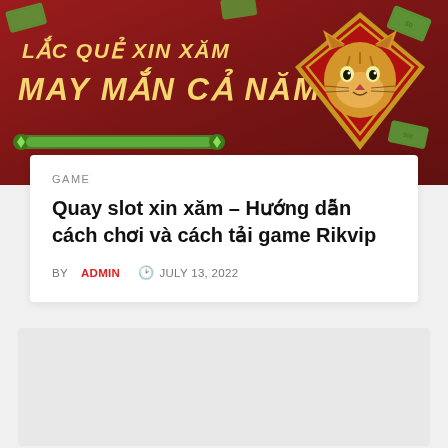[Figure (illustration): Red promotional banner with Vietnamese text 'LẮC QUẺ XIN XĂM MAY MẮN CẢ NĂM' in gold italic font, a tiger emblem in a diamond shape on the right, scattered green money bills, and a decorative bar at the bottom.]
GAME
Quay slot xin xăm – Hướng dẫn cách chơi và cách tải game Rikvip
BY ADMIN  🕐 JULY 13, 2022
[Figure (photo): Light gray image placeholder area below the article card.]